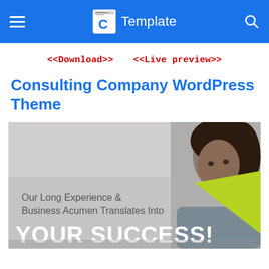C Template
<<Download>>  <<Live preview>>
Consulting Company WordPress Theme
[Figure (screenshot): Hero banner image of a consulting company WordPress theme showing a woman in the background, a lime-green triangle accent, indoor plants, and large text reading 'Our Long Experience & Business Acumen Translates Into YOUR SUCCESS!']